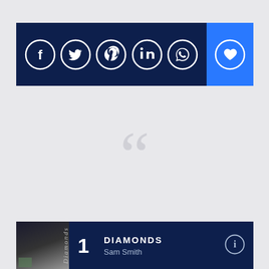[Figure (infographic): Social media sharing bar with icons: Facebook, Twitter, Pinterest, LinkedIn, WhatsApp (on dark navy background), and a heart/favorite button on a bright blue background]
[Figure (illustration): Large light-gray decorative quotation mark (double open quote) centered on a light gray background]
1 DIAMONDS Sam Smith
2 WILD LIFE OneRepublic